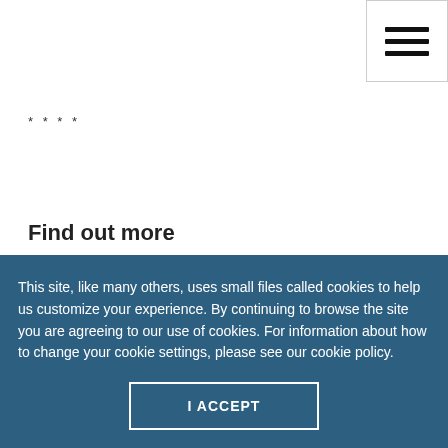[Figure (other): Hamburger menu icon button with three horizontal lines, top-right corner]
****
Find out more
This site, like many others, uses small files called cookies to help us customize your experience. By continuing to browse the site you are agreeing to our use of cookies. For information about how to change your cookie settings, please see our cookie policy.
I ACCEPT